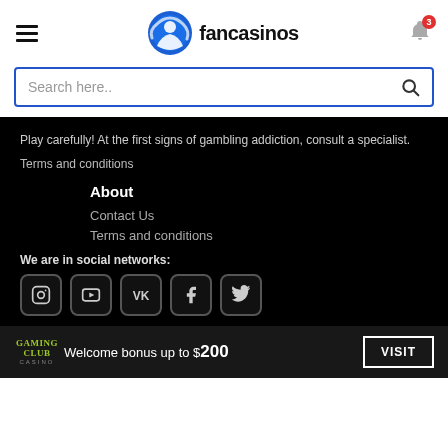fancasinos
Search here..
Play carefully! At the first signs of gambling addiction, consult a specialist.
Terms and conditions
About
Contact Us
Terms and conditions
We are in social networks:
[Figure (other): Row of 5 social media icon buttons: Instagram, YouTube, VK, Facebook, Twitter]
GamingClub Welcome bonus up to $200  VISIT